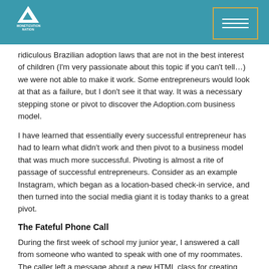Monetization Nation
ridiculous Brazilian adoption laws that are not in the best interest of children (I'm very passionate about this topic if you can't tell…) we were not able to make it work. Some entrepreneurs would look at that as a failure, but I don't see it that way. It was a necessary stepping stone or pivot to discover the Adoption.com business model.
I have learned that essentially every successful entrepreneur has had to learn what didn't work and then pivot to a business model that was much more successful. Pivoting is almost a rite of passage of successful entrepreneurs. Consider as an example Instagram, which began as a location-based check-in service, and then turned into the social media giant it is today thanks to a great pivot.
The Fateful Phone Call
During the first week of school my junior year, I answered a call from someone who wanted to speak with one of my roommates. The caller left a message about a new HTML class for creating internet sites. The caller wanted my roommate to take the class with him. Neither the caller nor my